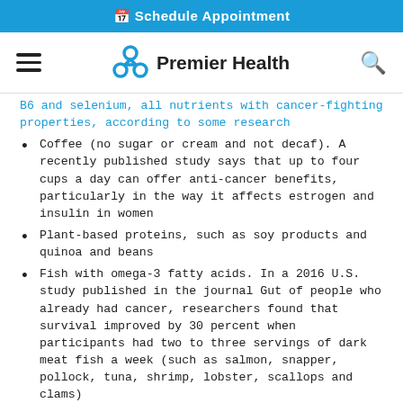Schedule Appointment
[Figure (logo): Premier Health logo with navigation bar showing hamburger menu, Premier Health logo with crosshair icon, and search icon]
B6 and selenium, all nutrients with cancer-fighting properties, according to some research
Coffee (no sugar or cream and not decaf). A recently published study says that up to four cups a day can offer anti-cancer benefits, particularly in the way it affects estrogen and insulin in women
Plant-based proteins, such as soy products and quinoa and beans
Fish with omega-3 fatty acids. In a 2016 U.S. study published in the journal Gut of people who already had cancer, researchers found that survival improved by 30 percent when participants had two to three servings of dark meat fish a week (such as salmon, snapper, pollock, tuna, shrimp, lobster, scallops and clams)